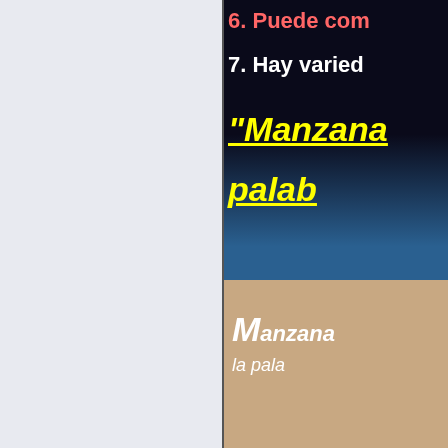[Figure (illustration): Left panel: light gray/blue background, blank. Right panel: upper half dark-to-blue gradient background with numbered list items 6 and 7 in Spanish and a yellow underlined italic heading 'Manzana... palab...'. Lower half: brown/tan background with italic white text 'Manzana... la pala...'.]
6. Puede com
7. Hay varied
"Manzana
palab
Manzana
la pala